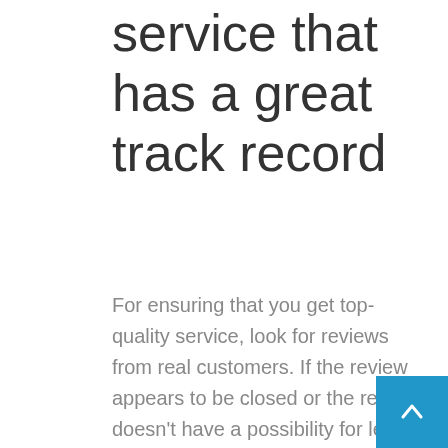service that has a great track record
For ensuring that you get top-quality service, look for reviews from real customers. If the review appears to be closed or the review doesn't have a possibility for leaving comments, that could be a sign of warning that the reviewer doesn't appreciate other people's feedback. Make sure to leave honest comments about the